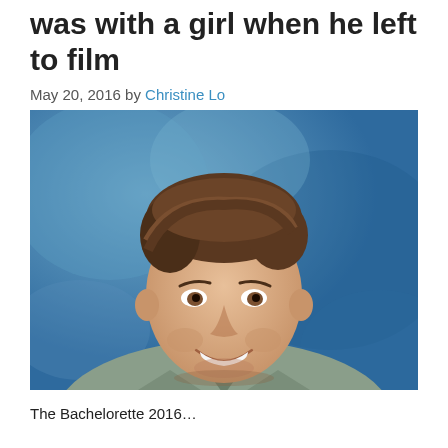was with a girl when he left to film
May 20, 2016 by Christine Lo
[Figure (photo): Headshot photo of a young man with brown hair, smiling, wearing a grey v-neck t-shirt against a blue mottled background.]
The Bachelorette 2016...